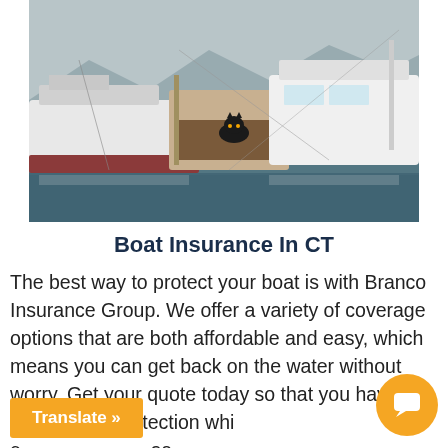[Figure (photo): Boats docked at a marina, several white sailboats and motorboats moored together with mountains in the background]
Boat Insurance In CT
The best way to protect your boat is with Branco Insurance Group. We offer a variety of coverage options that are both affordable and easy, which means you can get back on the water without worry. Get your quote today so that you have exceptional protection whi... e... as.